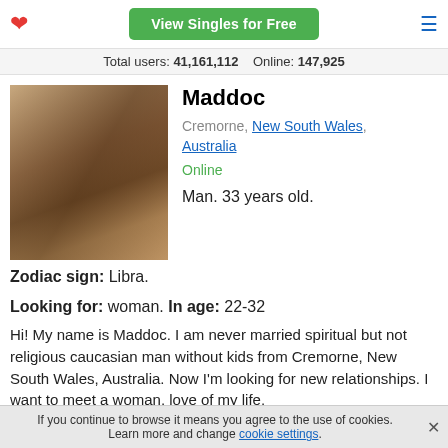View Singles for Free
Total users: 41,161,112   Online: 147,925
[Figure (photo): Profile photo of a young man in a plaid shirt]
Maddoc
Cremorne, New South Wales, Australia
Online
Man. 33 years old.
Zodiac sign: Libra.
Looking for: woman. In age: 22-32
Hi! My name is Maddoc. I am never married spiritual but not religious caucasian man without kids from Cremorne, New South Wales, Australia. Now I'm looking for new relationships. I want to meet a woman, love of my life.
If you continue to browse it means you agree to the use of cookies. Learn more and change cookie settings.